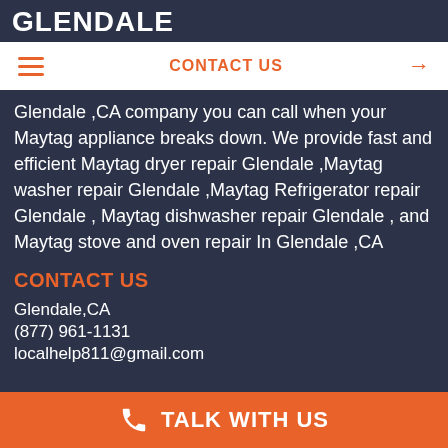GLENDALE
[Figure (other): Navigation bar with hamburger menu icon on left, CONTACT US link in center-right, and right arrow on right, on white background]
Glendale ,CA company you can call when your Maytag appliance breaks down. We provide fast and efficient Maytag dryer repair Glendale ,Maytag washer repair Glendale ,Maytag Refrigerator repair Glendale , Maytag dishwasher repair Glendale , and Maytag stove and oven repair In Glendale ,CA
CONTACT US
Glendale,CA
(877) 961-1131
localhelp811@gmail.com
TALK WITH US